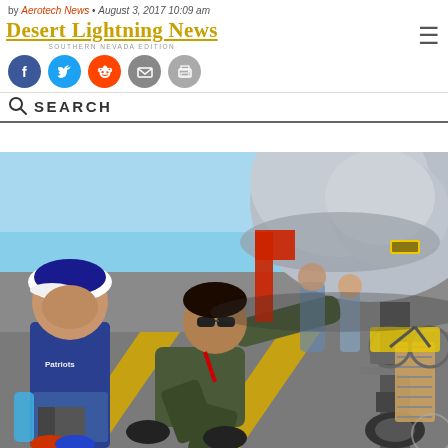by Aerotech News • August 3, 2017 10:09 am
Desert Lightning News
[Figure (photo): A military pilot in olive flight suit and sunglasses crouches down to show a young boy in a Patriots jersey the underside of a military aircraft (nose/fuselage visible), on an airfield tarmac with yellow lines. Other spectators and a bicycle cart visible in the background at what appears to be an air show.]